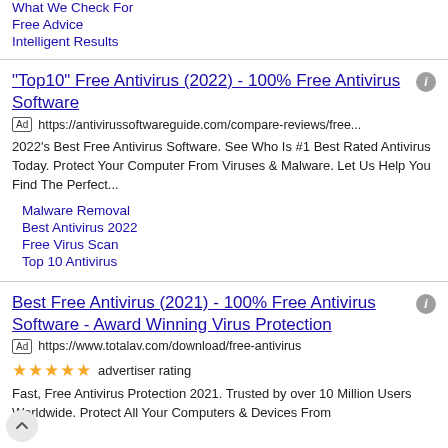What We Check For
Free Advice
Intelligent Results
"Top10" Free Antivirus (2022) - 100% Free Antivirus Software
Ad  https://antivirussoftwareguide.com/compare-reviews/free...
2022's Best Free Antivirus Software. See Who Is #1 Best Rated Antivirus Today. Protect Your Computer From Viruses & Malware. Let Us Help You Find The Perfect...
Malware Removal
Best Antivirus 2022
Free Virus Scan
Top 10 Antivirus
Best Free Antivirus (2021) - 100% Free Antivirus Software - Award Winning Virus Protection
Ad  https://www.totalav.com/download/free-antivirus
★★★★★ advertiser rating
Fast, Free Antivirus Protection 2021. Trusted by over 10 Million Users Worldwide. Protect All Your Computers & Devices From